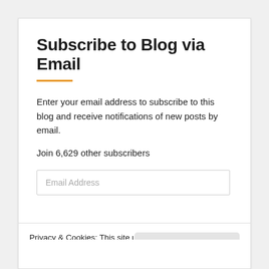Subscribe to Blog via Email
Enter your email address to subscribe to this blog and receive notifications of new posts by email.
Join 6,629 other subscribers
Email Address
Privacy & Cookies: This site uses cookies. By continuing to use this website, you agree to their use.
To find out more, including how to control cookies, see here: Cookie Policy
Close and accept